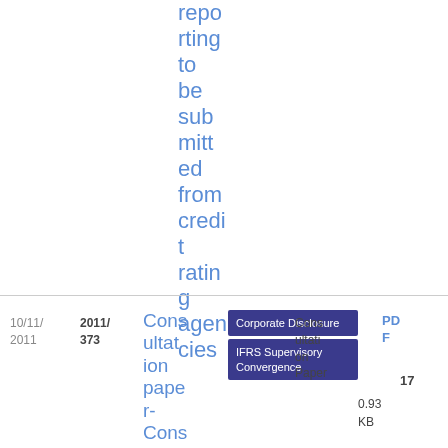reporting to be submitted from credit rating agencies
| Date | Ref | Title | Tags | Type | Size |
| --- | --- | --- | --- | --- | --- |
| 10/11/2011 | 2011/373 | Consultation paper- Consultation paper- Consider... | Corporate Disclosure, IFRS Supervisory Convergence | Consultation Paper | PDF 17 0.93 KB |